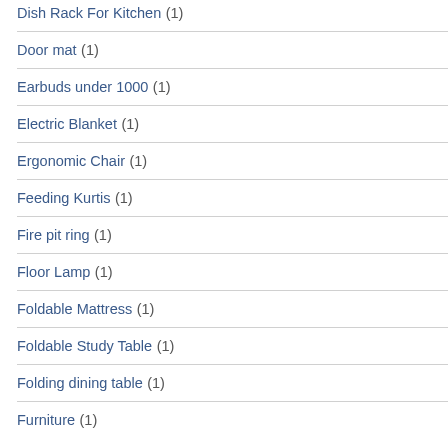Dish Rack For Kitchen (1)
Door mat (1)
Earbuds under 1000 (1)
Electric Blanket (1)
Ergonomic Chair (1)
Feeding Kurtis (1)
Fire pit ring (1)
Floor Lamp (1)
Foldable Mattress (1)
Foldable Study Table (1)
Folding dining table (1)
Furniture (1)